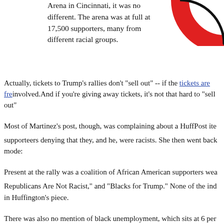Arena in Cincinnati, it was no different. The arena was at full at 17,500 supporters, many from different racial groups.
[Figure (other): Partial donut chart in red and black, top-right corner, cropped]
Actually, tickets to Trump's rallies don't "sell out" -- if the tickets are free involved. And if you're giving away tickets, it's not that hard to "sell out"
Most of Martinez's post, though, was complaining about a HuffPost item supporteers denying that they, and he, were racists. She then went back mode:
Present at the rally was a coalition of African American supporters wear Republicans Are Not Racist," and "Blacks for Trump." None of the indi in Huffington's piece.
There was also no mention of black unemployment, which sits at 6 perc low and below the rate under any previous administration in the article.
In addition, there was no mention of the Latino unemployment rate (4.3 the historic low of 4.2 percent). Asian-American unemployment is also a 2.1 percent as of June 2019, but that statistic was also negated.
Martinez didn't mention that increased employment under Trump is sim of the pace begun under President Obama.